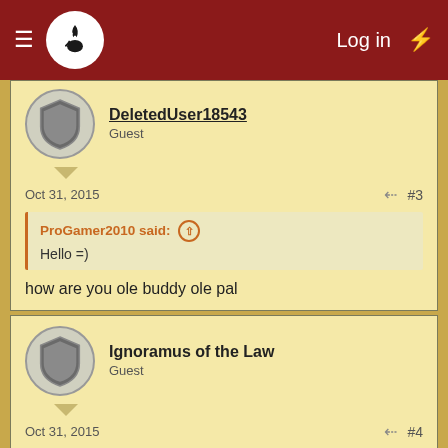Log in
DeletedUser18543
Guest
Oct 31, 2015  #3
ProGamer2010 said: ↑
Hello =)
how are you ole buddy ole pal
Ignoramus of the Law
Guest
Oct 31, 2015  #4
Never shall we be slaves again! xox
ProGamer2010